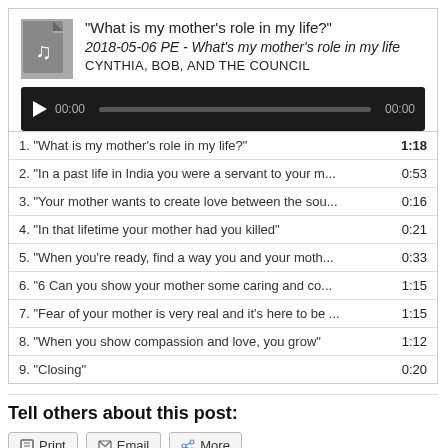[Figure (other): Audio media player with file icon showing a music note, track title, subtitle, and author; includes a playback bar with play button, time display (00:00 / 00:00), and progress bar.]
1. “What is my mother’s role in my life?”  1:18
2. “In a past life in India you were a servant to your m…  0:53
3. “Your mother wants to create love between the sou…  0:16
4. “In that lifetime your mother had you killed”  0:21
5. “When you’re ready, find a way you and your moth…  0:33
6. “6 Can you show your mother some caring and co…  1:15
7. “Fear of your mother is very real and it’s here to be …  1:15
8. “When you show compassion and love, you grow”  1:12
9. “Closing”  0:20
Tell others about this post:
Print  Email  More